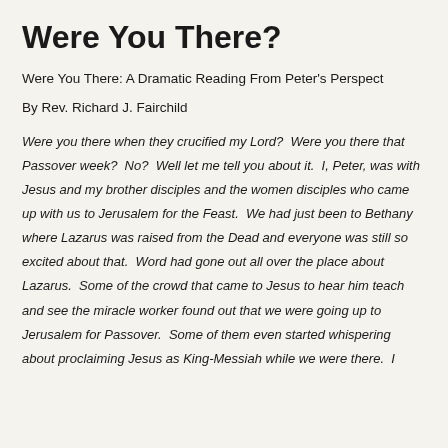Were You There?
Were You There: A Dramatic Reading From Peter's Perspective
By Rev. Richard J. Fairchild
Were you there when they crucified my Lord?  Were you there that Passover week?  No?  Well let me tell you about it.  I, Peter, was with Jesus and my brother disciples and the women disciples who came up with us to Jerusalem for the Feast.  We had just been to Bethany where Lazarus was raised from the Dead and everyone was still so excited about that.  Word had gone out all over the place about Lazarus.  Some of the crowd that came to Jesus to hear him teach and see the miracle worker found out that we were going up to Jerusalem for Passover.  Some of them even started whispering about proclaiming Jesus as King-Messiah while we were there.  I